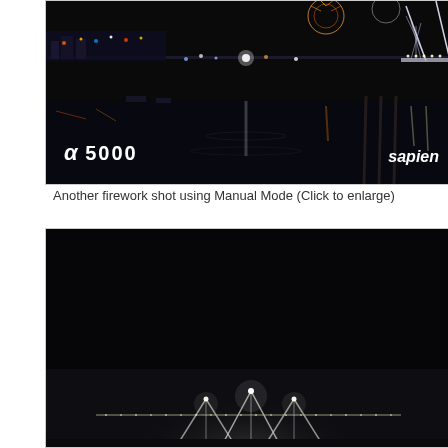[Figure (photo): Nighttime harbor/waterfront scene with city lights, fireworks in background, bridge lit up on the right side, water reflections, with Sony Alpha 5000 logo and 'sapien' watermark overlaid]
Another firework shot using Manual Mode (Click to enlarge)
[Figure (photo): Nighttime dark sky scene with illuminated white tent/marquee structures and bridge lights visible at bottom of frame, mostly dark sky]